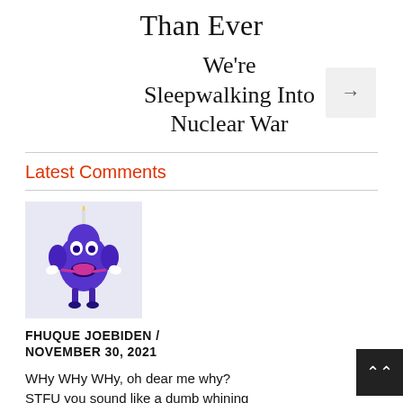Than Ever
We're Sleepwalking Into Nuclear War
Latest Comments
[Figure (illustration): Cartoon character — a purple blob-like creature with white eyes, pink mouth, small white hands and feet, on a light purple/lavender background square.]
FHUQUE JOEBIDEN / NOVEMBER 30, 2021
WHy WHy WHy, oh dear me why? STFU you sound like a dumb whining